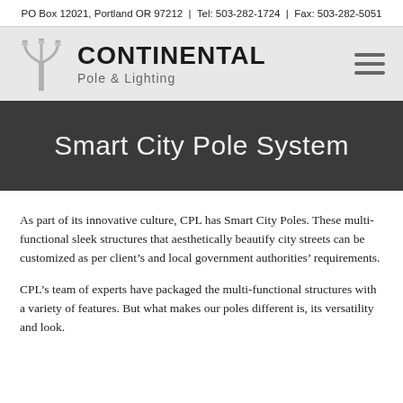PO Box 12021, Portland OR 97212 | Tel: 503-282-1724 | Fax: 503-282-5051
[Figure (logo): Continental Pole & Lighting logo with decorative lamp post icon and hamburger menu icon]
Smart City Pole System
As part of its innovative culture, CPL has Smart City Poles. These multi-functional sleek structures that aesthetically beautify city streets can be customized as per client’s and local government authorities’ requirements.
CPL’s team of experts have packaged the multi-functional structures with a variety of features. But what makes our poles different is, its versatility and look.